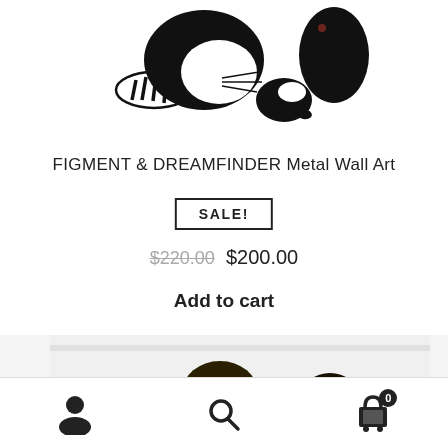[Figure (photo): Top portion of a black and white illustration of Figment and Dreamfinder characters - cartoon style line art showing a dragon/creature with striped tail and a person]
FIGMENT & DREAMFINDER Metal Wall Art
SALE!
$220.00  $200.00
Add to cart
[Figure (photo): Bottom cropped product photo showing dark metallic wall art pieces]
Navigation bar with user account icon, search icon, and cart icon with badge showing 0